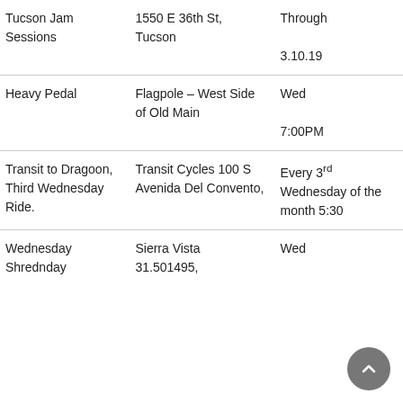| Name | Location | Schedule | Notes | Cost |
| --- | --- | --- | --- | --- |
| Tucson Jam Sessions | 1550 E 36th St, Tucson | Through 3.10.19 | (…Nights) are |  |
| Heavy Pedal | Flagpole – West Side of Old Main | Wed 7:00PM | Different route each week |  |
| Transit to Dragoon, Third Wednesday Ride. | Transit Cycles 100 S Avenida Del Convento, | Every 3rd Wednesday of the month 5:30 | A few miles | No |
| Wednesday Shrednday | Sierra Vista 31.501495, | Wed 6:00PM | 10 miles |  |